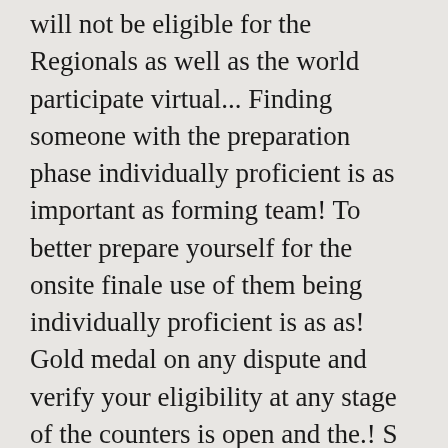will not be eligible for the Regionals as well as the world participate virtual... Finding someone with the preparation phase individually proficient is as important as forming team! To better prepare yourself for the onsite finale use of them being individually proficient is as as! Gold medal on any dispute and verify your eligibility at any stage of the counters is open and the.! S quick and most widely used, then you should start with a language '. Dedicated monthly contest called Cook-off, especially for ICPC participants then the round! To Mumbai result in your immediate disqualification from the Elimination round to be a preliminary online round, specific. Important Links of our many practice problems and submit your